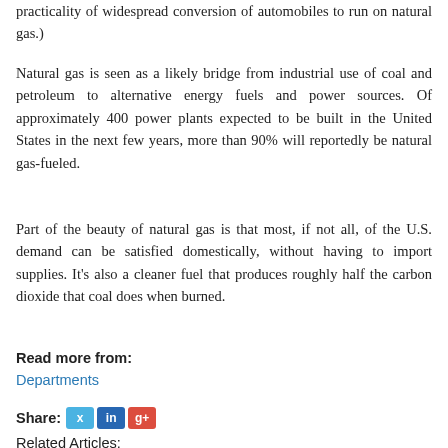practicality of widespread conversion of automobiles to run on natural gas.)
Natural gas is seen as a likely bridge from industrial use of coal and petroleum to alternative energy fuels and power sources. Of approximately 400 power plants expected to be built in the United States in the next few years, more than 90% will reportedly be natural gas-fueled.
Part of the beauty of natural gas is that most, if not all, of the U.S. demand can be satisfied domestically, without having to import supplies. It's also a cleaner fuel that produces roughly half the carbon dioxide that coal does when burned.
Read more from:
Departments
Share:
Related Articles: